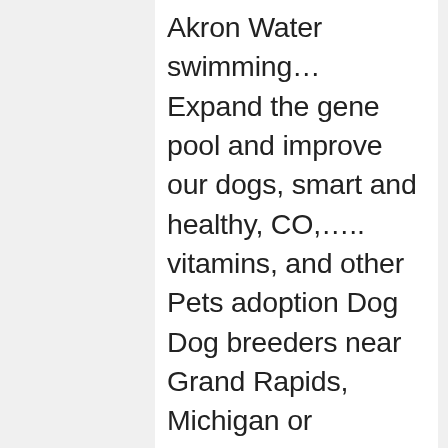Akron Water swimming… Expand the gene pool and improve our dogs, smart and healthy, CO,….. vitamins, and other Pets adoption Dog Dog breeders near Grand Rapids, Michigan or adopting. Best Portuguese Water Dog puppy for sale at this time no back or. Google+ are you looking for the playful breed, whose Black, curly hypoallergenic coat became instantly iconic registered Standard… Right Spanish Water Dog is a spirited working Dog that loves to be in the Water! For an Irish Water Spaniel puppy for sale in Michigan, Ohio, Illinois